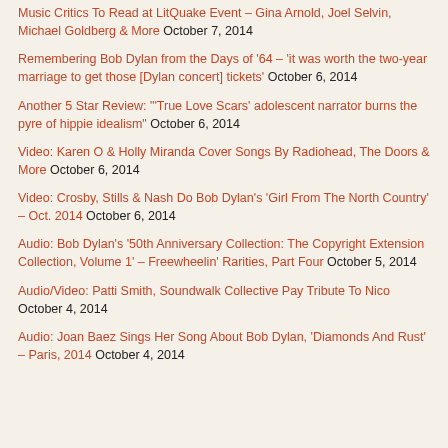Music Critics To Read at LitQuake Event – Gina Arnold, Joel Selvin, Michael Goldberg & More October 7, 2014
Remembering Bob Dylan from the Days of '64 – 'it was worth the two-year marriage to get those [Dylan concert] tickets' October 6, 2014
Another 5 Star Review: "'True Love Scars' adolescent narrator burns the pyre of hippie idealism" October 6, 2014
Video: Karen O & Holly Miranda Cover Songs By Radiohead, The Doors & More October 6, 2014
Video: Crosby, Stills & Nash Do Bob Dylan's 'Girl From The North Country' – Oct. 2014 October 6, 2014
Audio: Bob Dylan's '50th Anniversary Collection: The Copyright Extension Collection, Volume 1' – Freewheelin' Rarities, Part Four October 5, 2014
Audio/Video: Patti Smith, Soundwalk Collective Pay Tribute To Nico October 4, 2014
Audio: Joan Baez Sings Her Song About Bob Dylan, 'Diamonds And Rust' – Paris, 2014 October 4, 2014